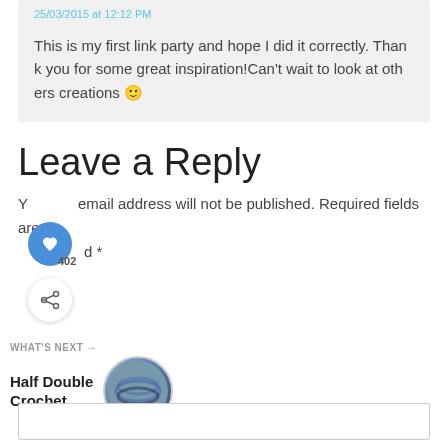25/03/2015 at 12:12 PM
This is my first link party and hope I did it correctly. Thank you for some great inspiration!Can't wait to look at others creations 🙂
Leave a Reply
Your email address will not be published. Required fields are marked *
WHAT'S NEXT → Half Double Crochet...